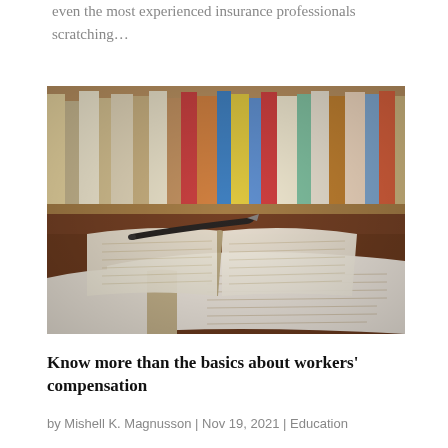even the most experienced insurance professionals scratching…
[Figure (photo): Two open books and a pen resting on top, with bookshelves of colorful books in the background. Warm, slightly blurred library setting.]
Know more than the basics about workers' compensation
by Mishell K. Magnusson | Nov 19, 2021 | Education